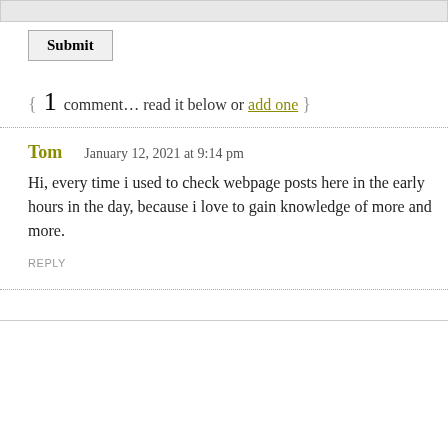{ 1 comment… read it below or add one }
Tom   January 12, 2021 at 9:14 pm
Hi, every time i used to check webpage posts here in the early hours in the day, because i love to gain knowledge of more and more.
REPLY